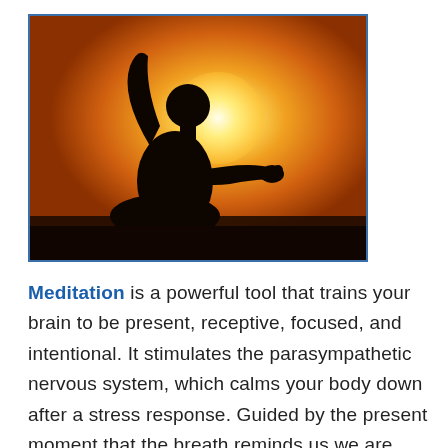[Figure (photo): Silhouette of a person meditating in lotus position against a bright orange sunset sky, with hand resting on knee in a mudra gesture. The scene has a warm golden-orange background with a circular sun behind the figure.]
Meditation is a powerful tool that trains your brain to be present, receptive, focused, and intentional. It stimulates the parasympathetic nervous system, which calms your body down after a stress response. Guided by the present moment that the breath reminds us we are always within, it helps us hold space for